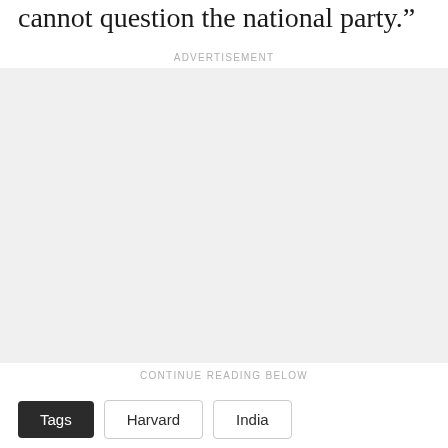cannot question the national party."
ADVERTISEMENT
[Figure (other): Advertisement placeholder box with light gray background]
CONTINUE READING BELOW
Tags
Harvard
India